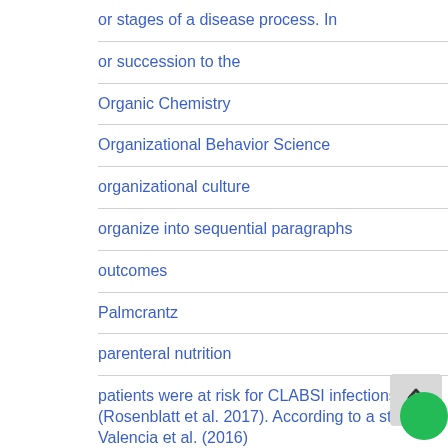or stages of a disease process. In
or succession to the
Organic Chemistry
Organizational Behavior Science
organizational culture
organize into sequential paragraphs
outcomes
Palmcrantz
parenteral nutrition
patients were at risk for CLABSI infections (Rosenblatt et al. 2017). According to a study by Valencia et al. (2016)
Payroll Accounting